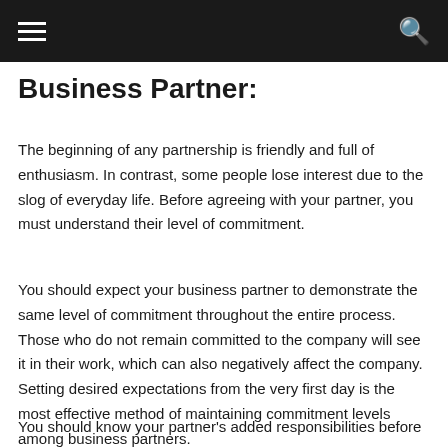Business Partner:
The beginning of any partnership is friendly and full of enthusiasm. In contrast, some people lose interest due to the slog of everyday life. Before agreeing with your partner, you must understand their level of commitment.
You should expect your business partner to demonstrate the same level of commitment throughout the entire process. Those who do not remain committed to the company will see it in their work, which can also negatively affect the company. Setting desired expectations from the very first day is the most effective method of maintaining commitment levels among business partners.
You should know your partner's added responsibilities before